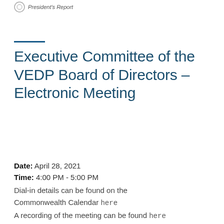President's Report
Executive Committee of the VEDP Board of Directors – Electronic Meeting
Date: April 28, 2021
Time: 4:00 PM - 5:00 PM
Dial-in details can be found on the Commonwealth Calendar here
A recording of the meeting can be found here